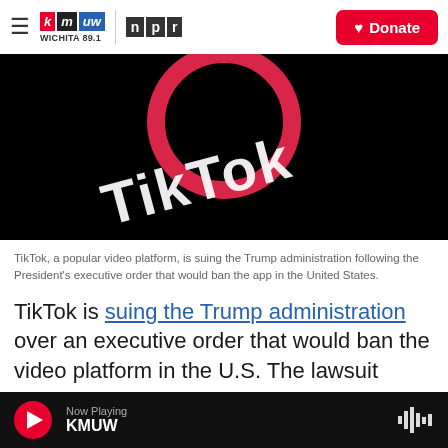KMUW Wichita 89.1 | NPR | Donate
[Figure (photo): TikTok logo on a dark background — white TikTok text with red and teal circle logo element]
TikTok, a popular video platform, is suing the Trump administration following the President's executive order that would ban the app in the United States.
TikTok is suing the Trump administration over an executive order that would ban the video platform in the U.S. The lawsuit comes in response to President Trump's stance against China, including
Now Playing KMUW